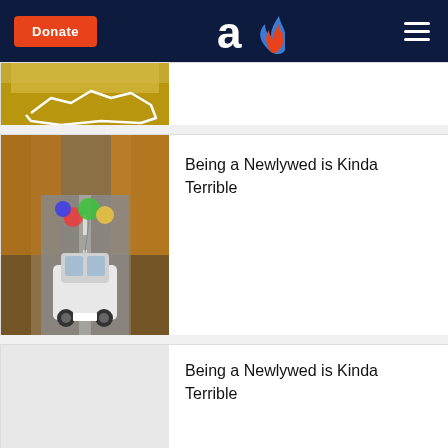Donate | [logo] | menu
[Figure (photo): Partial view of a yellow/autumn scene, partially cropped at top]
Being a Newlywed is Kinda Terrible
[Figure (photo): White car driving down road with colorful balloons tied to it, autumn trees on both sides]
Being a Newlywed is Kinda Terrible
[Figure (photo): Network of glowing envelope/email icons floating in warm bokeh background]